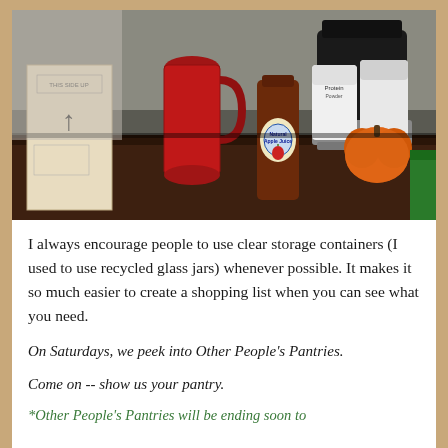[Figure (photo): A cluttered pantry shelf or counter showing various food items including a bottle of apple juice (Natural Apple Juice), a large red jug, a black coffee maker or pot, two white supplement/protein containers, an orange pumpkin, a cardboard box with an upward arrow, and a green bag, all on a dark wooden surface.]
I always encourage people to use clear storage containers (I used to use recycled glass jars) whenever possible. It makes it so much easier to create a shopping list when you can see what you need.
On Saturdays, we peek into Other People's Pantries.
Come on -- show us your pantry.
*Other People's Pantries will be ending soon to